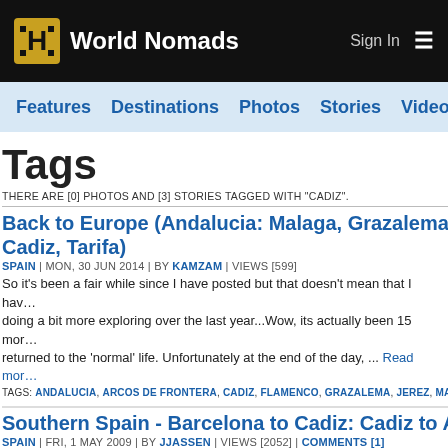World Nomads — Sign In
Features | Destinations | Photos | Stories | Videos | Ta...
Tags
THERE ARE [0] PHOTOS AND [3] STORIES TAGGED WITH "CADIZ".
Back to Europe (Andalucia: Malaga, Grazalema, Arcos, Je... Cadiz, Tarifa)
SPAIN | MON, 30 JUN 2014 | BY KAMZAM | VIEWS [599]
So it's been a fair while since I have posted but that doesn't mean that I have... doing a bit more exploring over the last year...Wow, its actually been 15 mor... returned to the 'normal' life. Unfortunately at the end of the day, ... Read mor...
TAGS: ANDALUCIA, ARCOS DE FRONTERA, CADIZ, FLAMENCO, GRAZALEMA, JEREZ, MALAGA, SHERRY...
Southern Spain - Barcelona to Cadiz: Cadiz to Algarve
SPAIN | FRI, 1 MAY 2009 | BY JJASSEN | VIEWS [2052] | COMMENTS [1]
I have just had the best 5 days of the trip so far. Rented a car with Lisa and...